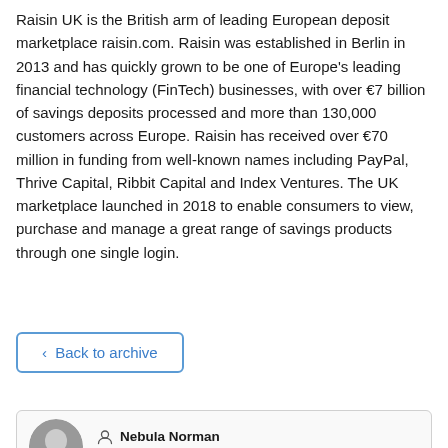Raisin UK is the British arm of leading European deposit marketplace raisin.com. Raisin was established in Berlin in 2013 and has quickly grown to be one of Europe's leading financial technology (FinTech) businesses, with over €7 billion of savings deposits processed and more than 130,000 customers across Europe. Raisin has received over €70 million in funding from well-known names including PayPal, Thrive Capital, Ribbit Capital and Index Ventures. The UK marketplace launched in 2018 to enable consumers to view, purchase and manage a great range of savings products through one single login.
‹ Back to archive
[Figure (photo): Circular profile photo of Nebula Norman, partially visible at bottom of page]
Nebula Norman